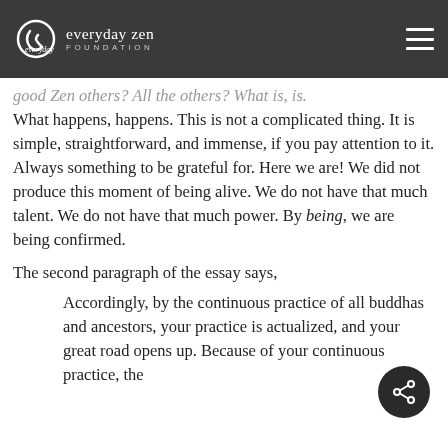everyday zen FOUNDATION
good Zen others? All the others? What is, is. What happens, happens. This is not a complicated thing. It is simple, straightforward, and immense, if you pay attention to it. Always something to be grateful for. Here we are! We did not produce this moment of being alive. We do not have that much talent. We do not have that much power. By being, we are being confirmed.
The second paragraph of the essay says,
Accordingly, by the continuous practice of all buddhas and ancestors, your practice is actualized, and your great road opens up. Because of your continuous practice, the